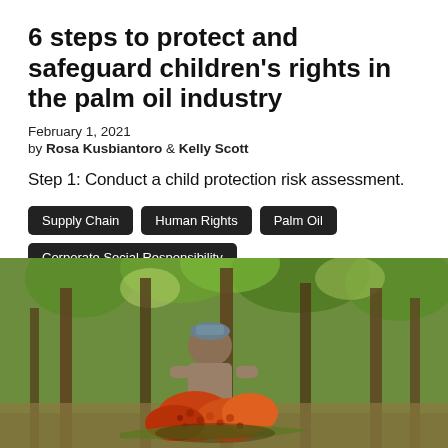6 steps to protect and safeguard children's rights in the palm oil industry
February 1, 2021
by Rosa Kusbiantoro & Kelly Scott
Step 1: Conduct a child protection risk assessment.
Supply Chain
Human Rights
Palm Oil
Corporate Social Responsibility
[Figure (photo): A worker in a palm oil plantation holding harvested palm fruit bunches, with tall palm trees in the background. Bright, colorful scene with orange/red fruit clusters.]